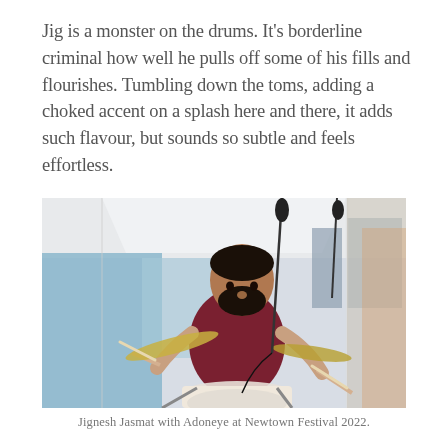Jig is a monster on the drums. It's borderline criminal how well he pulls off some of his fills and flourishes. Tumbling down the toms, adding a choked accent on a splash here and there, it adds such flavour, but sounds so subtle and feels effortless.
[Figure (photo): Jignesh Jasmat playing drums at an outdoor festival under a white tent, wearing a dark red t-shirt, holding drumsticks mid-play with cymbals and drum kit visible, city buildings in background.]
Jignesh Jasmat with Adoneye at Newtown Festival 2022.